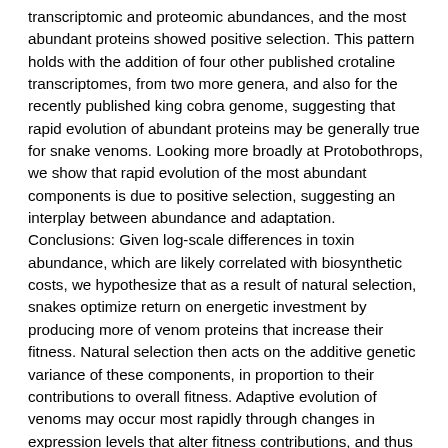transcriptomic and proteomic abundances, and the most abundant proteins showed positive selection. This pattern holds with the addition of four other published crotaline transcriptomes, from two more genera, and also for the recently published king cobra genome, suggesting that rapid evolution of abundant proteins may be generally true for snake venoms. Looking more broadly at Protobothrops, we show that rapid evolution of the most abundant components is due to positive selection, suggesting an interplay between abundance and adaptation. Conclusions: Given log-scale differences in toxin abundance, which are likely correlated with biosynthetic costs, we hypothesize that as a result of natural selection, snakes optimize return on energetic investment by producing more of venom proteins that increase their fitness. Natural selection then acts on the additive genetic variance of these components, in proportion to their contributions to overall fitness. Adaptive evolution of venoms may occur most rapidly through changes in expression levels that alter fitness contributions, and thus the strength of selection acting on specific secretome components.